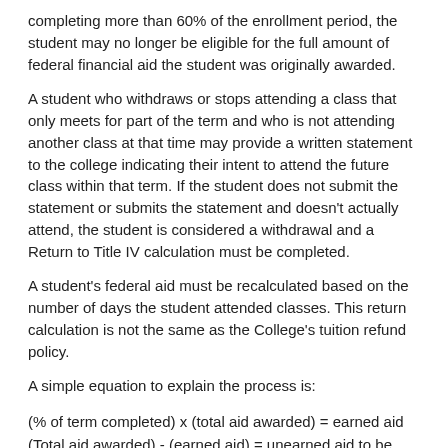completing more than 60% of the enrollment period, the student may no longer be eligible for the full amount of federal financial aid the student was originally awarded.
A student who withdraws or stops attending a class that only meets for part of the term and who is not attending another class at that time may provide a written statement to the college indicating their intent to attend the future class within that term. If the student does not submit the statement or submits the statement and doesn't actually attend, the student is considered a withdrawal and a Return to Title IV calculation must be completed.
A student's federal aid must be recalculated based on the number of days the student attended classes. This return calculation is not the same as the College's tuition refund policy.
A simple equation to explain the process is:
The College is required to return unearned financial aid to the Federal government for all withdrawals.
If there are any outstanding financial obligations to the College...